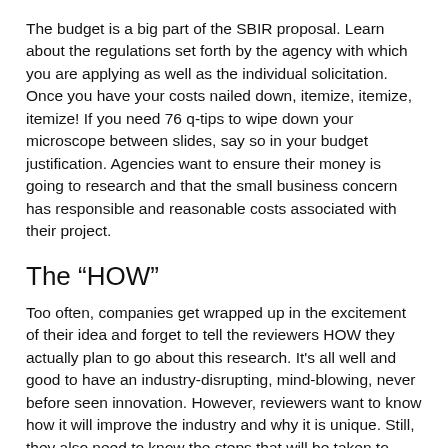The budget is a big part of the SBIR proposal. Learn about the regulations set forth by the agency with which you are applying as well as the individual solicitation. Once you have your costs nailed down, itemize, itemize, itemize! If you need 76 q-tips to wipe down your microscope between slides, say so in your budget justification. Agencies want to ensure their money is going to research and that the small business concern has responsible and reasonable costs associated with their project.
The “HOW”
Too often, companies get wrapped up in the excitement of their idea and forget to tell the reviewers HOW they actually plan to go about this research. It’s all well and good to have an industry-disrupting, mind-blowing, never before seen innovation. However, reviewers want to know how it will improve the industry and why it is unique. Still, they also need to know the steps that will be taken to bring it to fruition. If you are engaging in research, describe your process. How will you define success? What is your overall goal and individual objectives? What will represent your go/no go decision to take the project to Phase II? What milestones will allow you to measure progress? What data will you collect, and how will you evaluate data?